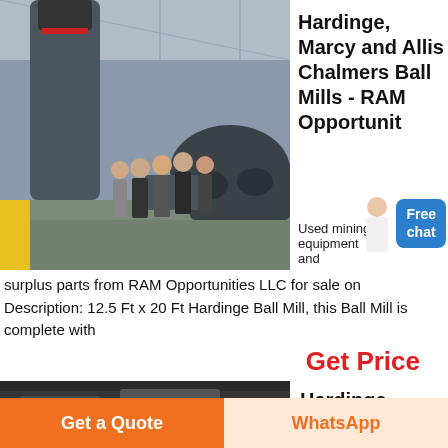[Figure (photo): Industrial facility interior with large gray ball mill machinery; several people in business attire (suits and coats) viewing the equipment on a factory floor with high ceiling.]
Hardinge, Marcy and Allis Chalmers Ball Mills - RAM Opportunity
Used mining equipment and surplus parts from RAM Opportunities LLC for sale on Description: 12.5 Ft x 20 Ft Hardinge Ball Mill, this Ball Mill is complete with
Get Price
[Figure (photo): Partial view of industrial machinery, dark tones, bottom of page.]
Hardinge
Get a Quote
WhatsApp